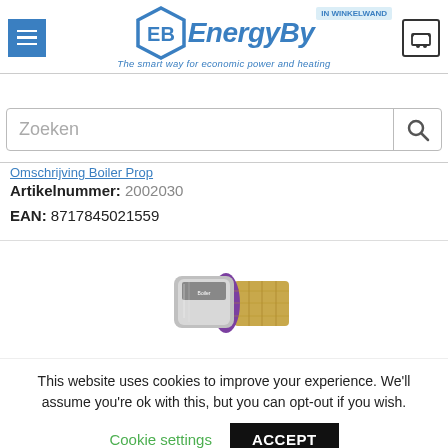[Figure (logo): EnergyBy company logo with hexagonal EB emblem and tagline 'The smart way for economic power and heating']
Zoeken
Artikelnummer: 2002030
EAN: 8717845021559
[Figure (photo): Product photo of a plumbing/heating press fitting connector with silver body, purple ring, and gold brass nut]
This website uses cookies to improve your experience. We'll assume you're ok with this, but you can opt-out if you wish.
Cookie settings
ACCEPT